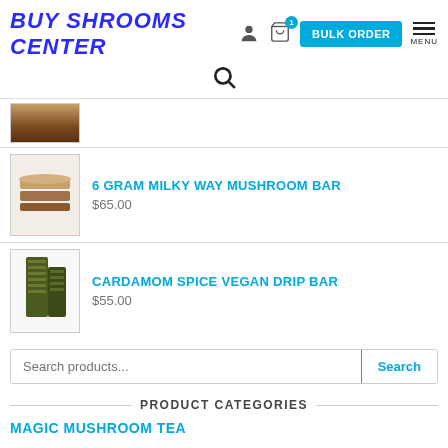BUY SHROOMS CENTER
[Figure (screenshot): Partial product image - chocolate bars on white background, cropped at top]
6 GRAM MILKY WAY MUSHROOM BAR - $65.00
CARDAMOM SPICE VEGAN DRIP BAR - $55.00
Search products...
PRODUCT CATEGORIES
MAGIC MUSHROOM TEA